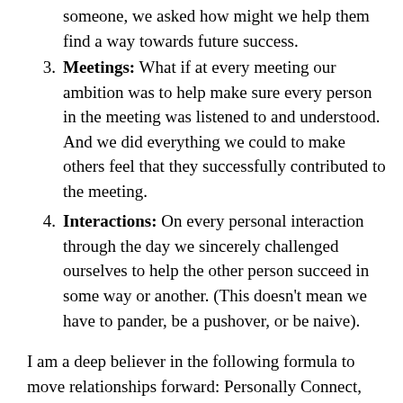someone, we asked how might we help them find a way towards future success.
Meetings: What if at every meeting our ambition was to help make sure every person in the meeting was listened to and understood. And we did everything we could to make others feel that they successfully contributed to the meeting.
Interactions: On every personal interaction through the day we sincerely challenged ourselves to help the other person succeed in some way or another. (This doesn’t mean we have to pander, be a pushover, or be naive).
I am a deep believer in the following formula to move relationships forward: Personally Connect, Really Understand what the other wants, THEN determine the Right Action to Take. The “AND” to this equation